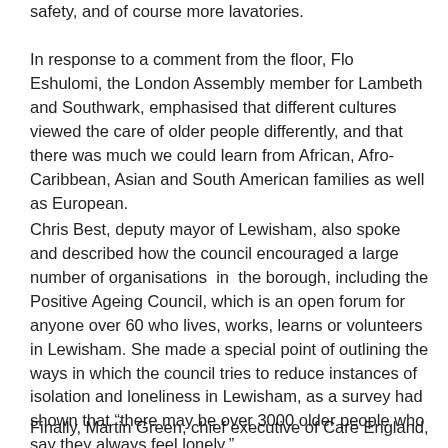safety, and of course more lavatories.
In response to a comment from the floor, Flo Eshulomi, the London Assembly member for Lambeth and Southwark, emphasised that different cultures viewed the care of older people differently, and that there was much we could learn from African, Afro-Caribbean, Asian and South American families as well as European.
Chris Best, deputy mayor of Lewisham, also spoke and described how the council encouraged a large number of organisations in the borough, including the Positive Ageing Council, which is an open forum for anyone over 60 who lives, works, learns or volunteers in Lewisham. She made a special point of outlining the ways in which the council tries to reduce instances of isolation and loneliness in Lewisham, as a survey had shown that “there may be over 3000 older people who say they always feel lonely.”
Finally, Martin Green, chief executive of Care England,